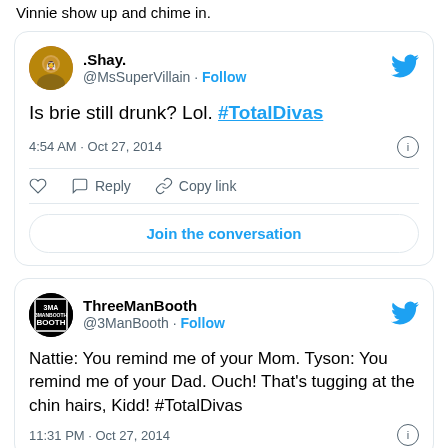Vinnie show up and chime in.
[Figure (screenshot): Embedded tweet from @MsSuperVillain (.Shay.) reading: Is brie still drunk? Lol. #TotalDivas — 4:54 AM · Oct 27, 2014, with Reply, Copy link actions and Join the conversation button]
[Figure (screenshot): Embedded tweet from @3ManBooth (ThreeManBooth) reading: Nattie: You remind me of your Mom. Tyson: You remind me of your Dad. Ouch! That's tugging at the chin hairs, Kidd! #TotalDivas — 11:31 PM · Oct 27, 2014]